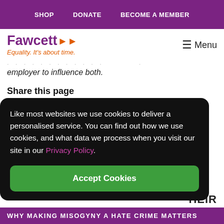SHOP   DONATE   BECOME A MEMBER
[Figure (logo): Fawcett Society logo with purple text 'Fawcett' with orange double arrows, and orange italic tagline 'Equality. It's about time.']
employer to influence both.
Share this page
Like most websites we use cookies to deliver a personalised service. You can find out how we use cookies, and what data we process when you visit our site in our Privacy Policy.
Accept Cookies
HEIR
WHY MAKING MISOGYNY A HATE CRIME MATTERS